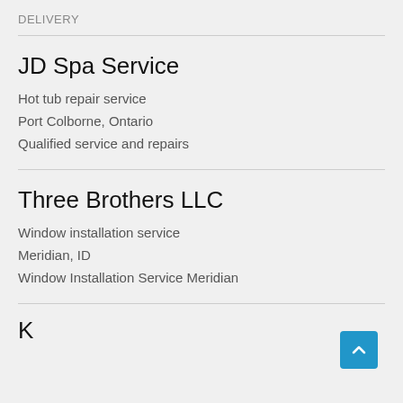DELIVERY
JD Spa Service
Hot tub repair service
Port Colborne, Ontario
Qualified service and repairs
Three Brothers LLC
Window installation service
Meridian, ID
Window Installation Service Meridian
K...